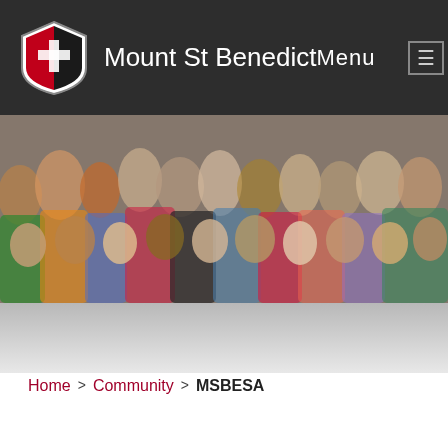Mount St Benedict | Menu
[Figure (photo): Crowd of people at a school or community event, blurred background with many faces visible]
Home > Community > MSBESA